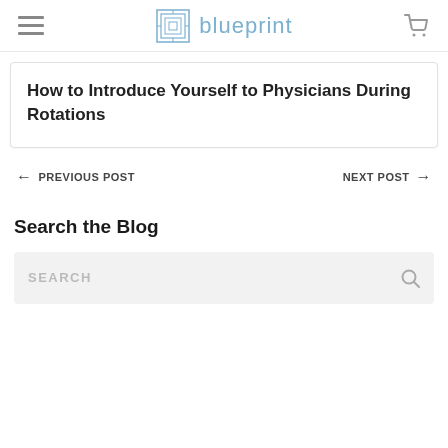blueprint
How to Introduce Yourself to Physicians During Rotations
← PREVIOUS POST
NEXT POST →
Search the Blog
SEARCH